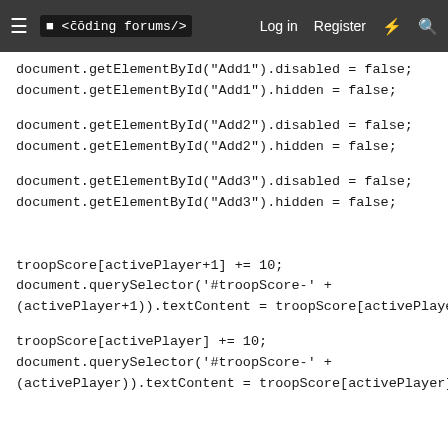≡  <coding forums/>   Log in   Register  ⚡  🔍
document.getElementById("Add1").disabled = false;
document.getElementById("Add1").hidden = false;

document.getElementById("Add2").disabled = false;
document.getElementById("Add2").hidden = false;

document.getElementById("Add3").disabled = false;
document.getElementById("Add3").hidden = false;



troopScore[activePlayer+1] += 10;
document.querySelector('#troopScore-' +
(activePlayer+1)).textContent = troopScore[activePlayer+1];

troopScore[activePlayer] += 10;
document.querySelector('#troopScore-' +
(activePlayer)).textContent = troopScore[activePlayer];